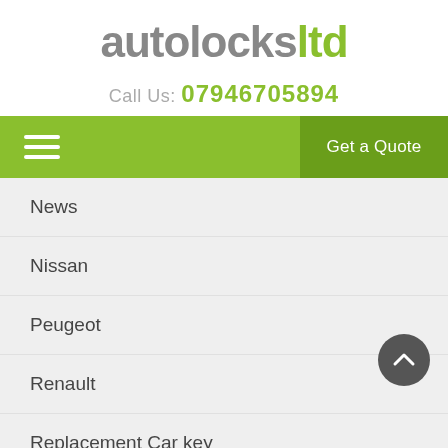autolocksltd
Call Us: 07946705894
[Figure (screenshot): Navigation bar with hamburger menu icon on green background and 'Get a Quote' button on darker green background]
News
Nissan
Peugeot
Renault
Replacement Car key
Toyota
Vauxhall